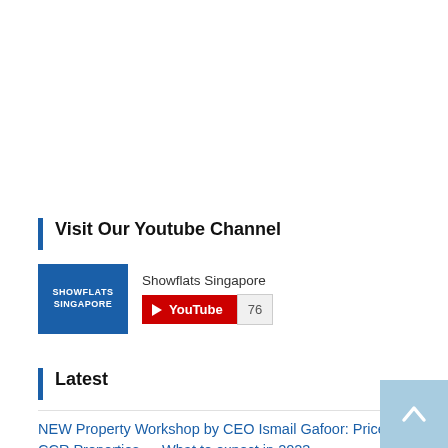Visit Our Youtube Channel
[Figure (other): Showflats Singapore YouTube channel widget showing logo, channel name 'Showflats Singapore', YouTube subscribe button, and subscriber count of 76]
Latest
NEW Property Workshop by CEO Ismail Gafoor: Price of CCR Properties — What to expect in 2023...